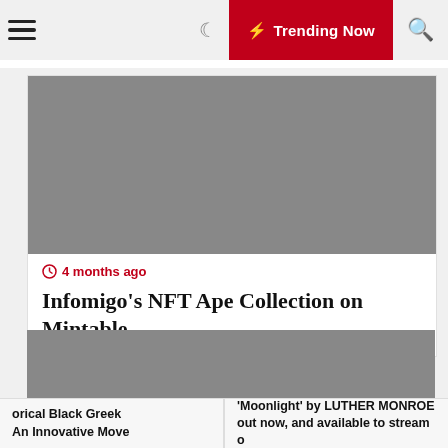☰  ☽  ⚡ Trending Now  🔍
[Figure (photo): Gray placeholder image for the NFT Ape Collection article]
⊙ 4 months ago
Infomigo's NFT Ape Collection on Mintable
[Figure (photo): Gray placeholder image for a second article]
orical Black Greek
An Innovative Move
'Moonlight' by LUTHER MONROE
out now, and available to stream o